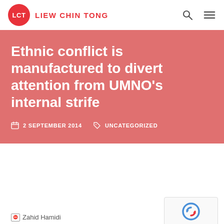LCT  LIEW CHIN TONG
Ethnic conflict is manufactured to divert attention from UMNO's internal strife
2 SEPTEMBER 2014   UNCATEGORIZED
[Figure (other): Broken image placeholder labeled 'Zahid Hamidi']
[Figure (other): reCAPTCHA badge with Privacy and Terms links]